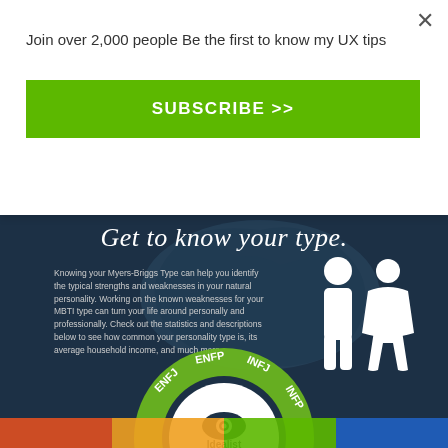Join over 2,000 people Be the first to know my UX tips
[Figure (other): Green subscribe button with text SUBSCRIBE >>]
[Figure (infographic): Myers-Briggs personality type infographic with dark blue background, title 'Get to know your type.', descriptive text about MBTI, icons of male and female figures, and a circular diagram showing personality types (ENFJ, ENFP, INFJ, INFP) with an eye icon labeled 'Idealist' and subtitle 'Charitable, desire self-expression and']